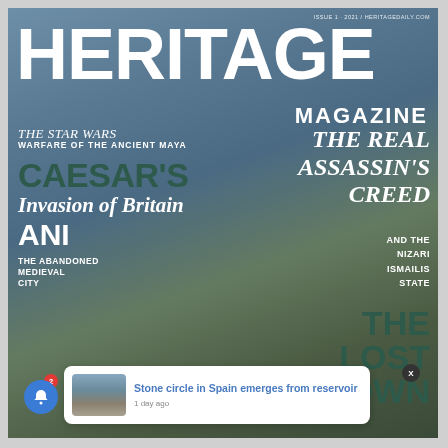[Figure (photo): Magazine cover of Heritage Magazine showing Roman soldiers in historical costume with shields and spears, one on horseback against a dramatic cloudy sky background]
ISSUE 1 · 2021 / HERITAGEDAILY.COM
HERITAGE MAGAZINE
THE STAR WARS
WARFARE OF THE ANCIENT MAYA
CAESAR'S
Invasion of Britain
ANI
THE ABANDONED MEDIEVAL CITY
THE REAL ASSASSIN'S CREED
AND THE NIZARI ISMAILIS STATE
THE LOST TOWN
[Figure (photo): Thumbnail photo of stone circle ruins near water in Spain]
Stone circle in Spain emerges from reservoir
1 day ago